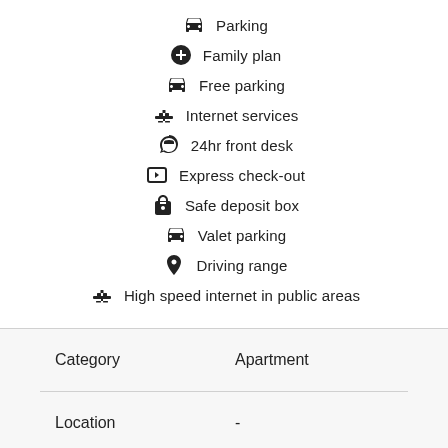Parking
Family plan
Free parking
Internet services
24hr front desk
Express check-out
Safe deposit box
Valet parking
Driving range
High speed internet in public areas
|  |  |
| --- | --- |
| Category | Apartment |
| Location | - |